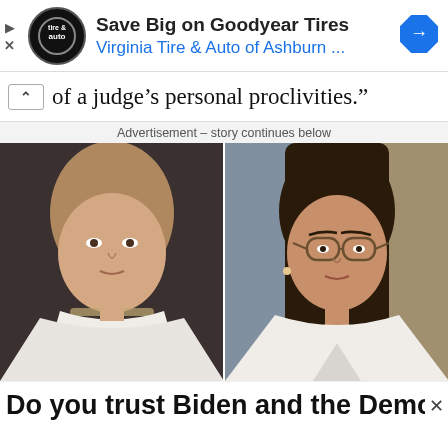[Figure (screenshot): Ad banner: circular tire & auto logo on left, bold title 'Save Big on Goodyear Tires', blue subtitle 'Virginia Tire & Auto of Ashburn ...', blue diamond arrow icon on right]
of a judge’s personal proclivities.”
Advertisement – story continues below
[Figure (photo): Two side-by-side photos: left shows an older white-haired woman in a white blazer with a beaded necklace (Nancy Pelosi); right shows a younger woman with glasses and dark hair in a white blazer (Alexandria Ocasio-Cortez)]
Do you trust Biden and the Democrats to hand